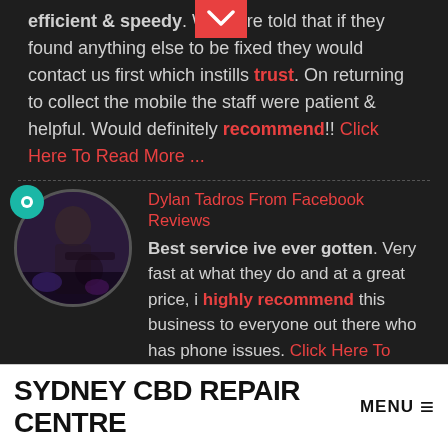efficient & speedy. We were told that if they found anything else to be fixed they would contact us first which instills trust. On returning to collect the mobile the staff were patient & helpful. Would definitely recommend!! Click Here To Read More ...
Dylan Tadros From Facebook Reviews
Best service ive ever gotten. Very fast at what they do and at a great price, i highly recommend this business to everyone out there who has phone issues. Click Here To Read More ....
SYDNEY CBD REPAIR CENTRE MENU ☰